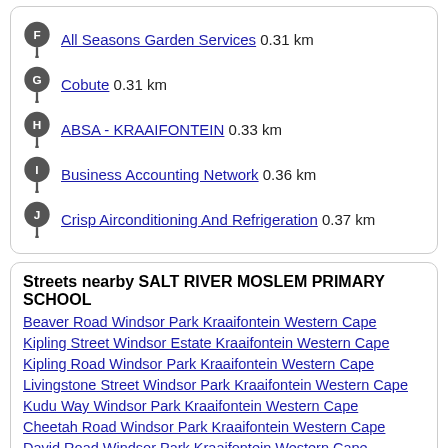All Seasons Garden Services 0.31 km
Cobute 0.31 km
ABSA - KRAAIFONTEIN 0.33 km
Business Accounting Network 0.36 km
Crisp Airconditioning And Refrigeration 0.37 km
Streets nearby SALT RIVER MOSLEM PRIMARY SCHOOL
Beaver Road Windsor Park Kraaifontein Western Cape
Kipling Street Windsor Estate Kraaifontein Western Cape
Kipling Road Windsor Park Kraaifontein Western Cape
Livingstone Street Windsor Park Kraaifontein Western Cape
Kudu Way Windsor Park Kraaifontein Western Cape
Cheetah Road Windsor Park Kraaifontein Western Cape
David Road Windsor Park Kraaifontein Western Cape
Hill Street Windsor Park Kraaifontein Western Cape